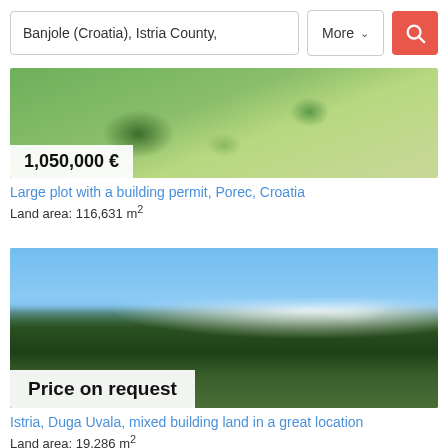Banjole (Croatia), Istria County,
More
[Figure (photo): Aerial photo of large green plot with buildings and roads, Porec Croatia]
1,050,000 €
Large plot with a building permit, Porec, Croatia
Land area: 116,631 m²
[Figure (photo): Photo of open land with bare trees and white blossoming tree branches against a blue sky, Duga Uvala, Istria]
Price on request
Istria, Duga Uvala, mixed building land in a great location
Land area: 19,286 m²